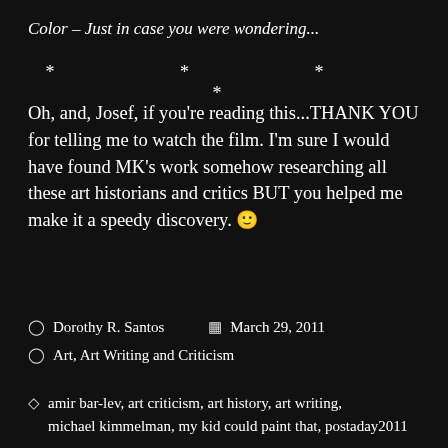Color – Just in case you were wondering...
* * * *
Oh, and, Josef, if you're reading this...THANK YOU for telling me to watch the film. I'm sure I would have found MK's work somehow researching all these art historians and critics BUT you helped me make it a speedy discovery. 🙂
Dorothy R. Santos   March 29, 2011
Art, Art Writing and Criticism
amir bar-lev, art criticism, art history, art writing, michael kimmelman, my kid could paint that, postaday2011